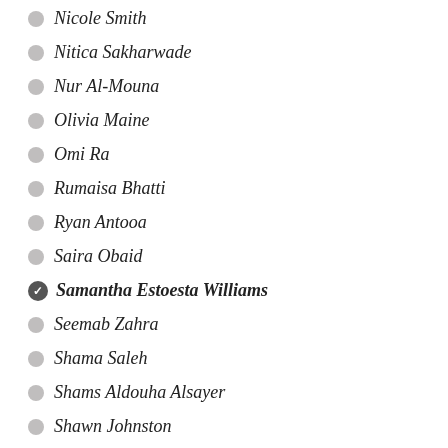Nicole Smith
Nitica Sakharwade
Nur Al-Mouna
Olivia Maine
Omi Ra
Rumaisa Bhatti
Ryan Antooa
Saira Obaid
Samantha Estoesta Williams
Seemab Zahra
Shama Saleh
Shams Aldouha Alsayer
Shawn Johnston